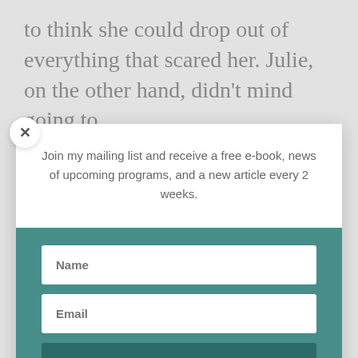to think she could drop out of everything that scared her. Julie, on the other hand, didn't mind going to
[Figure (screenshot): Close button (X) circle for modal dialog]
Join my mailing list and receive a free e-book, news of upcoming programs, and a new article every 2 weeks.
Name
Email
Subscribe